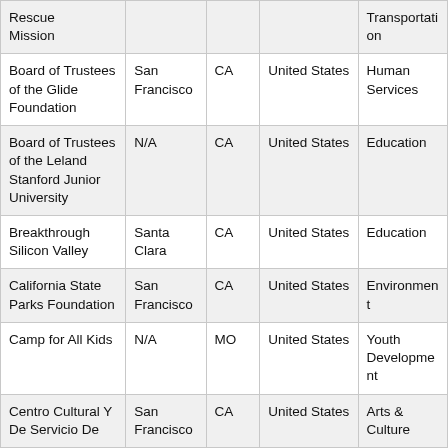| Organization | City | State | Country | Category |
| --- | --- | --- | --- | --- |
| Rescue Mission |  |  |  | Transportation |
| Board of Trustees of the Glide Foundation | San Francisco | CA | United States | Human Services |
| Board of Trustees of the Leland Stanford Junior University | N/A | CA | United States | Education |
| Breakthrough Silicon Valley | Santa Clara | CA | United States | Education |
| California State Parks Foundation | San Francisco | CA | United States | Environment |
| Camp for All Kids | N/A | MO | United States | Youth Development |
| Centro Cultural Y De Servicio De | San Francisco | CA | United States | Arts & Culture |